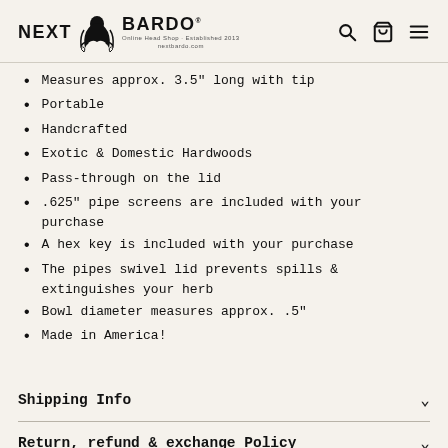NEXT BARDO
Measures approx. 3.5" long with tip
Portable
Handcrafted
Exotic & Domestic Hardwoods
Pass-through on the lid
.625" pipe screens are included with your purchase
A hex key is included with your purchase
The pipes swivel lid prevents spills & extinguishes your herb
Bowl diameter measures approx. .5"
Made in America!
Shipping Info
Return, refund & exchange Policy